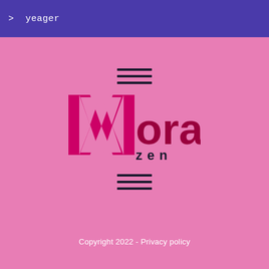> yeager
[Figure (logo): MoralZen logo with stylized M in magenta/pink and 'oral' in dark magenta, 'zen' in dark navy, on pink background with hamburger menu icons above and below]
Copyright 2022 - Privacy policy